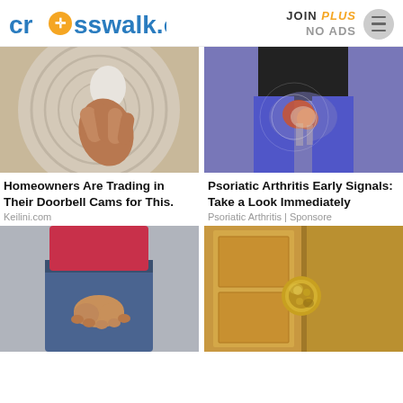crosswalk.com | JOIN PLUS NO ADS
[Figure (photo): Hand unscrewing or screwing a light bulb into a circular ceiling fixture]
Homeowners Are Trading in Their Doorbell Cams for This.
Keilini.com
[Figure (photo): Person in black top and blue leggings showing hip/pelvis area with medical illustration overlay indicating pain]
Psoriatic Arthritis Early Signals: Take a Look Immediately
Psoriatic Arthritis | Sponsore
[Figure (photo): Woman in pink top and blue jeans, hands clasped together in front of her lower body]
[Figure (photo): Close-up of a gold/bronze door handle or knob on a door]